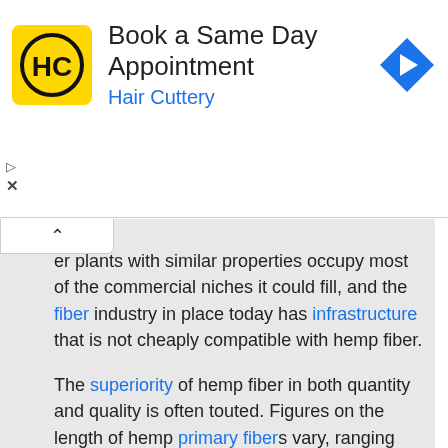[Figure (screenshot): Hair Cuttery advertisement banner with HC logo, title 'Book a Same Day Appointment', subtitle 'Hair Cuttery', and a blue navigation arrow icon on the right.]
er plants with similar properties occupy most of the commercial niches it could fill, and the fiber industry in place today has infrastructure that is not cheaply compatible with hemp fiber.

The superiority of hemp fiber in both quantity and quality is often touted. Figures on the length of hemp primary fibers vary, ranging from an average of 8 to 80 inches (20-200cm) in length. Fiber length varies across strains, but figures nearer the shorter end of the